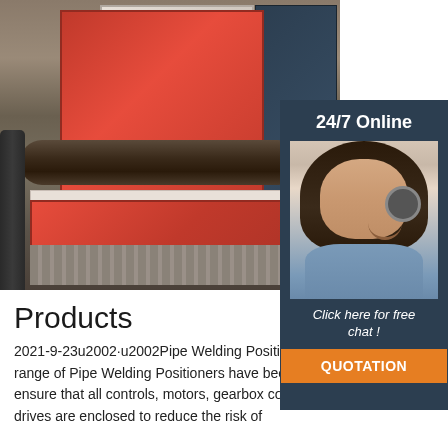[Figure (photo): Industrial pipe welding positioner machine in a factory/workshop setting. Red and beige colored machine with a large dark pipe/tube being processed. A dark vertical bar is visible in the foreground.]
[Figure (infographic): 24/7 Online support sidebar overlay on dark navy background. Shows a smiling female customer service agent wearing a headset. Text reads '24/7 Online', 'Click here for free chat!', and an orange button labeled 'QUOTATION'.]
Products
2021-9-23u2002·u2002Pipe Welding Positioner The Smithweld range of Pipe Welding Positioners have been manufactured to ensure that all controls, motors, gearbox combinations and gear drives are enclosed to reduce the risk of